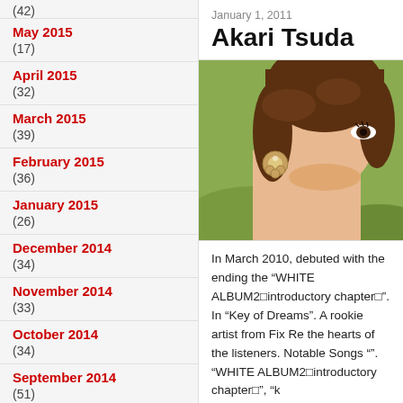(42)
May 2015
(17)
April 2015
(32)
March 2015
(39)
February 2015
(36)
January 2015
(26)
December 2014
(34)
November 2014
(33)
October 2014
(34)
September 2014
(51)
August 2014
January 1, 2011
Akari Tsuda
[Figure (photo): Close-up photo of a young woman with short brown hair, wearing a decorative earring, photographed outdoors with green background.]
In March 2010, debuted with the ending the “WHITE ALBUM2□introductory chapter□”. In “Key of Dreams”. A rookie artist from Fix Re the hearts of the listeners. Notable Songs “”. “WHITE ALBUM2□introductory chapter□”, “k